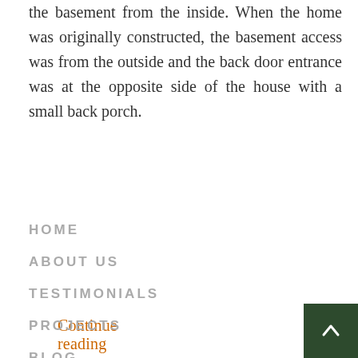the basement from the inside. When the home was originally constructed, the basement access was from the outside and the back door entrance was at the opposite side of the house with a small back porch.
Continue reading →
HOME
ABOUT US
TESTIMONIALS
PROJECTS
BLOG